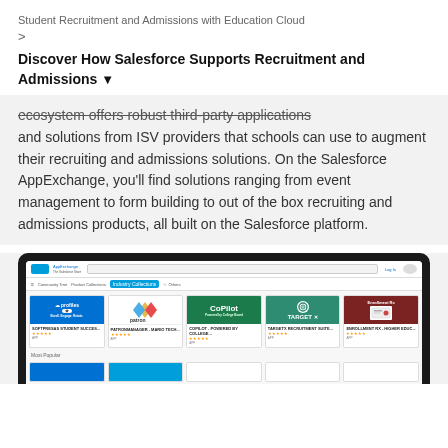Student Recruitment and Admissions with Education Cloud
Discover How Salesforce Supports Recruitment and Admissions ▾
ecosystem offers robust third-party applications and solutions from ISV providers that schools can use to augment their recruiting and admissions solutions. On the Salesforce AppExchange, you'll find solutions ranging from event management to form building to out of the box recruiting and admissions products, all built on the Salesforce platform.
[Figure (screenshot): Screenshot of a laptop showing the Salesforce AppExchange website with Industry Collections tab selected, displaying app cards including SSB Profiles, Patron Manager, CoPilot, TARGET X, and Enrollment Rx products.]